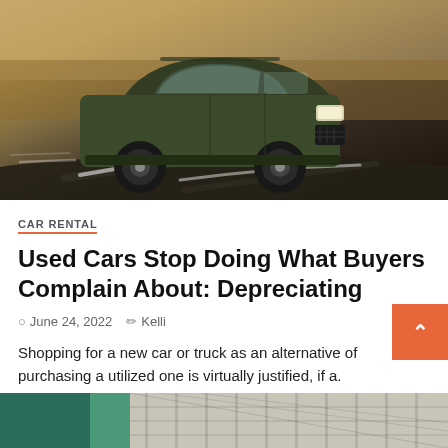[Figure (photo): A dark olive/green Kia Telluride SUV driving on a winding road through a desert landscape with sandy rocky terrain in the background.]
CAR RENTAL
Used Cars Stop Doing What Buyers Complain About: Depreciating
June 24, 2022   Kelli
Shopping for a new car or truck as an alternative of purchasing a utilized one is virtually justified, if a.
[Figure (photo): Partial view of a car grille/front end, appears to be a close-up shot at the bottom of the page.]